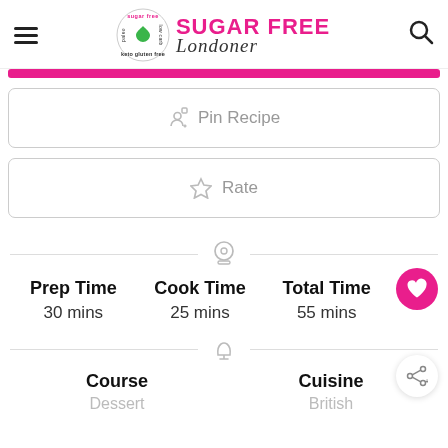Sugar Free Londoner
Pin Recipe
Rate
Prep Time 30 mins  Cook Time 25 mins  Total Time 55 mins
Course Dessert   Cuisine British